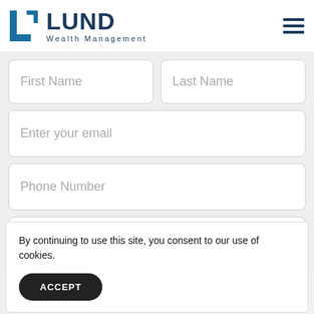[Figure (logo): Lund Wealth Management logo with blue geometric icon and dark blue text]
First Name
Last Name
Enter your email
Phone Number
Zip Code
By continuing to use this site, you consent to our use of cookies.
ACCEPT